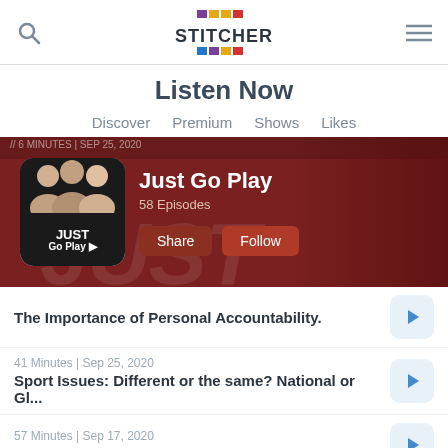Stitcher app header with search, logo, and menu icons
Listen Now
Discover  Premium  Shows  Likes
[Figure (screenshot): Just Go Play podcast banner with show logo, title, 58 Episodes, Share and Follow buttons on dark red background]
The Importance of Personal Accountability.
41 Minutes | Sep 25, 2020
Sport Issues: Different or the same? National or Gl...
57 Minutes | Sep 17, 2020
The New 'Art of Coaching' Youth Athletes
46 Minutes | Sep 10, 2020
Bridging the gap between Research & Reality wit...